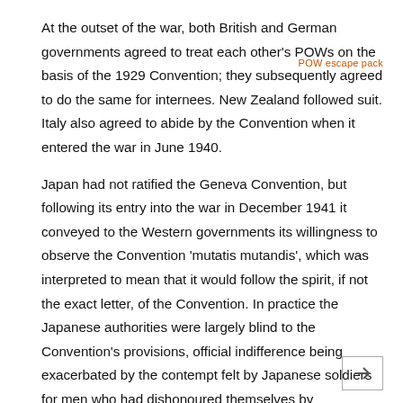At the outset of the war, both British and German governments agreed to treat each other's POWs on the basis of the 1929 Convention; they subsequently agreed to do the same for internees. New Zealand followed suit. Italy also agreed to abide by the Convention when it entered the war in June 1940.
POW escape pack
Japan had not ratified the Geneva Convention, but following its entry into the war in December 1941 it conveyed to the Western governments its willingness to observe the Convention 'mutatis mutandis', which was interpreted to mean that it would follow the spirit, if not the exact letter, of the Convention. In practice the Japanese authorities were largely blind to the Convention's provisions, official indifference being exacerbated by the contempt felt by Japanese soldiers for men who had dishonoured themselves by surrendering.